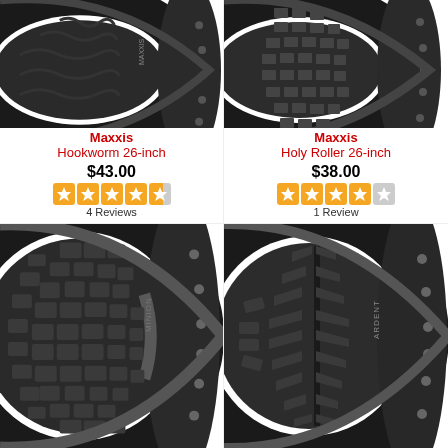[Figure (photo): Maxxis Hookworm 26-inch bicycle tire, black, close-up showing tread pattern and sidewall]
Maxxis
Hookworm 26-inch
$43.00
4.5 stars
4 Reviews
[Figure (photo): Maxxis Holy Roller 26-inch bicycle tire, black, close-up showing knobby tread pattern]
Maxxis
Holy Roller 26-inch
$38.00
4 stars
1 Review
[Figure (photo): Maxxis mountain bike tire (bottom left), black, showing aggressive knobby tread pattern, angled view]
[Figure (photo): Maxxis Ardent mountain bike tire (bottom right), black, showing multi-directional knobby tread, angled view]